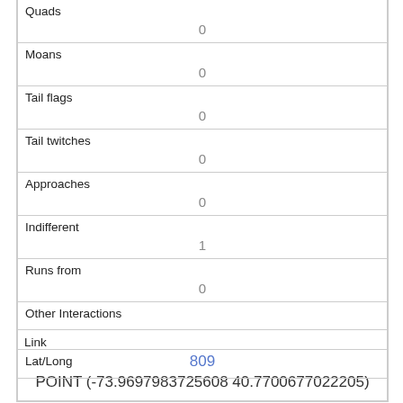| Quads | 0 |
| Moans | 0 |
| Tail flags | 0 |
| Tail twitches | 0 |
| Approaches | 0 |
| Indifferent | 1 |
| Runs from | 0 |
| Other Interactions |  |
| Lat/Long | POINT (-73.9697983725608 40.7700677022205) |
| Link | 809 |